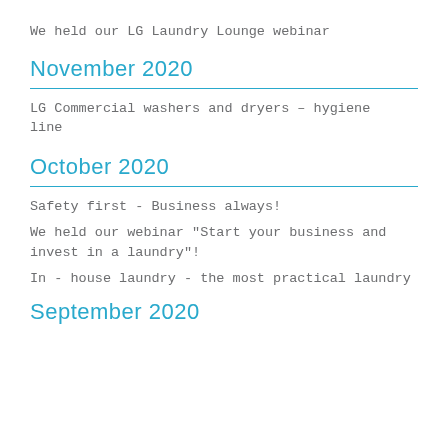We held our LG Laundry Lounge webinar
November 2020
LG Commercial washers and dryers – hygiene line
October 2020
Safety first - Business always!
We held our webinar "Start your business and invest in a laundry"!
In - house laundry - the most practical laundry
September 2020